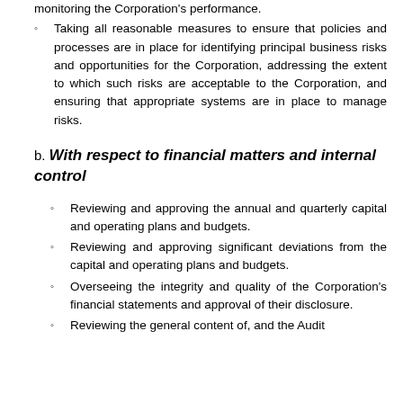monitoring the Corporation's performance.
Taking all reasonable measures to ensure that policies and processes are in place for identifying principal business risks and opportunities for the Corporation, addressing the extent to which such risks are acceptable to the Corporation, and ensuring that appropriate systems are in place to manage risks.
b. With respect to financial matters and internal control
Reviewing and approving the annual and quarterly capital and operating plans and budgets.
Reviewing and approving significant deviations from the capital and operating plans and budgets.
Overseeing the integrity and quality of the Corporation's financial statements and approval of their disclosure.
Reviewing the general content of, and the Audit